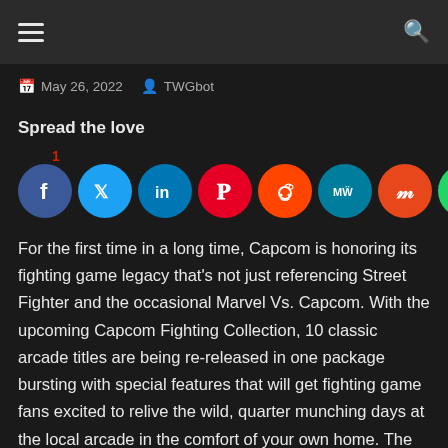☰  🔍
May 26, 2022   TWGbot
Spread the love
1
[Figure (other): Social media share buttons: Facebook, Twitter, LinkedIn, Pinterest, Reddit, MeWe, Mix, WhatsApp, More]
For the first time in a long time, Capcom is honoring its fighting game legacy that's not just referencing Street Fighter and the occasional Marvel Vs. Capcom. With the upcoming Capcom Fighting Collection, 10 classic arcade titles are being re-released in one package bursting with special features that will get fighting game fans excited to relive the wild, quarter munching days at the local arcade in the comfort of your own home. The launch of this collection is less than a month away, and I've been granted early access by Capcom to take this bundle for a spin. After a few hours of playing matches of some old favorites as well as games that never made it